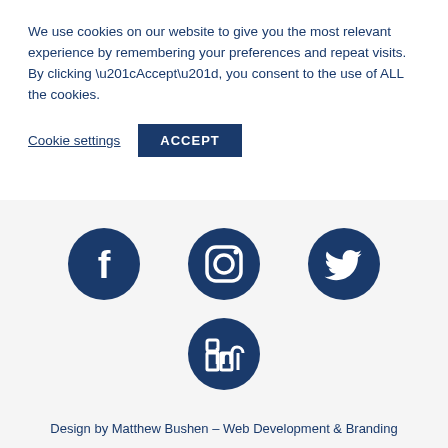We use cookies on our website to give you the most relevant experience by remembering your preferences and repeat visits. By clicking “Accept”, you consent to the use of ALL the cookies.
Cookie settings | ACCEPT
[Figure (illustration): Four social media icons in dark navy blue circles: Facebook, Instagram, Twitter arranged in a row, LinkedIn below centered]
Design by Matthew Bushen – Web Development & Branding